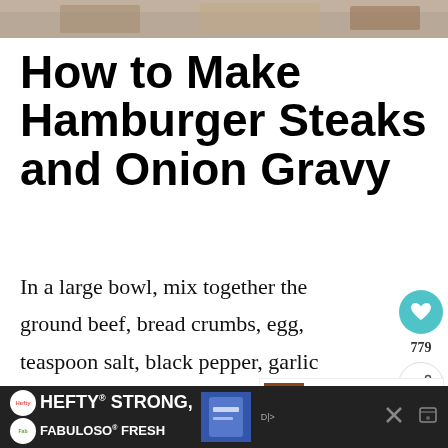[Figure (photo): Food photo strip at top of page]
How to Make Hamburger Steaks and Onion Gravy
In a large bowl, mix together the ground beef, bread crumbs, egg, teaspoon salt, black pepper, garlic powder, onion powder, and Worcestershire sauce until incorporated and well combined
[Figure (infographic): Social sidebar with heart/save icon showing 779 saves and share icon]
[Figure (infographic): What's Next panel: The Best Ever Skillet Pork...]
[Figure (infographic): Hefty / Fabuloso advertisement banner at bottom: HEFTY STRONG, FABULOSO FRESH]